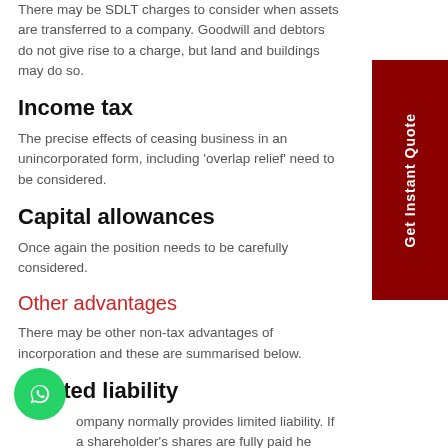There may be SDLT charges to consider when assets are transferred to a company. Goodwill and debtors do not give rise to a charge, but land and buildings may do so.
Income tax
The precise effects of ceasing business in an unincorporated form, including 'overlap relief' need to be considered.
Capital allowances
Once again the position needs to be carefully considered.
Other advantages
There may be other non-tax advantages of incorporation and these are summarised below.
Limited liability
A company normally provides limited liability. If a shareholder's shares are fully paid he cannot normally be required to invest